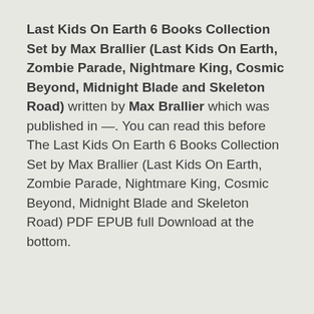Last Kids On Earth 6 Books Collection Set by Max Brallier (Last Kids On Earth, Zombie Parade, Nightmare King, Cosmic Beyond, Midnight Blade and Skeleton Road) written by Max Brallier which was published in —. You can read this before The Last Kids On Earth 6 Books Collection Set by Max Brallier (Last Kids On Earth, Zombie Parade, Nightmare King, Cosmic Beyond, Midnight Blade and Skeleton Road) PDF EPUB full Download at the bottom.